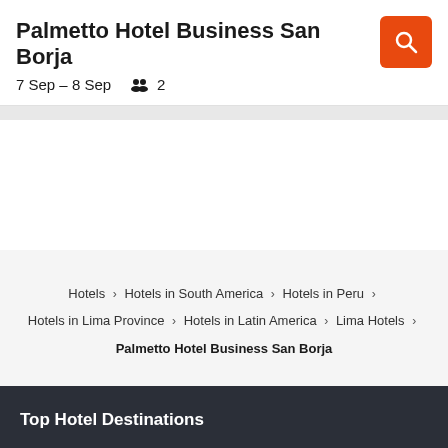Palmetto Hotel Business San Borja
7 Sep – 8 Sep   👥 2
Hotels > Hotels in South America > Hotels in Peru > Hotels in Lima Province > Hotels in Latin America > Lima Hotels > Palmetto Hotel Business San Borja
Top Hotel Destinations
Tanunda Hotels
Singapore Hotels
Yerevan Hotels
Coffs Harbour Hotels
Wollongong Hotels
Busselton Hotels
Belek Hotels
Las Vegas Hotels